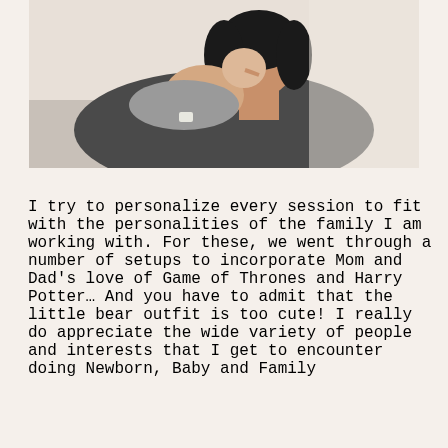[Figure (photo): A woman wearing a dark gray sweater and a watch holds and kisses a newborn baby on a light background.]
I try to personalize every session to fit with the personalities of the family I am working with. For these, we went through a number of setups to incorporate Mom and Dad's love of Game of Thrones and Harry Potter… And you have to admit that the little bear outfit is too cute! I really do appreciate the wide variety of people and interests that I get to encounter doing Newborn, Baby and Family